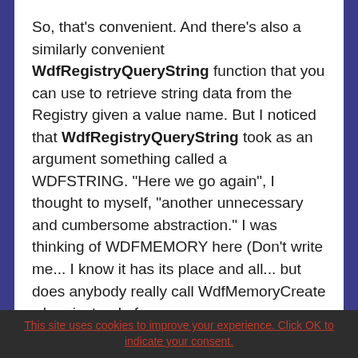So, that's convenient.  And there's also a similarly convenient WdfRegistryQueryString function that you can use to retrieve string data from the Registry given a value name.  But I noticed that WdfRegistryQueryString took as an argument something called a WDFSTRING.  "Here we go again", I thought to myself, "another unnecessary and cumbersome abstraction."  I was thinking of WDFMEMORY here (Don't write me... I know it has its place and all... but does anybody really call WdfMemoryCreate when instead of
This site uses cookies to improve your experience. Click OK to indicate your consent.